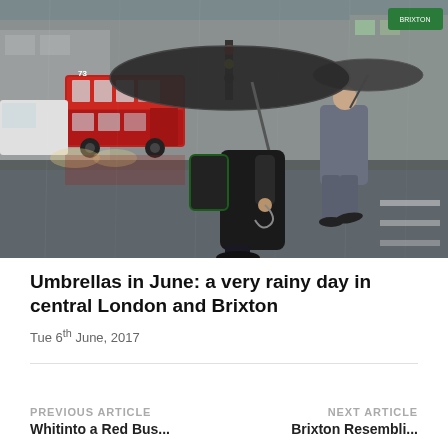[Figure (photo): Two people with umbrellas crossing a wet London street in heavy rain. A red double-decker bus and traffic visible in the background. Person in foreground wearing black jacket and backpack holding a large dark umbrella. Person in background in grey suit also holding an umbrella.]
Umbrellas in June: a very rainy day in central London and Brixton
Tue 6th June, 2017
PREVIOUS ARTICLE
NEXT ARTICLE
Whitinto a Red Bus...
Brixton Resembli...